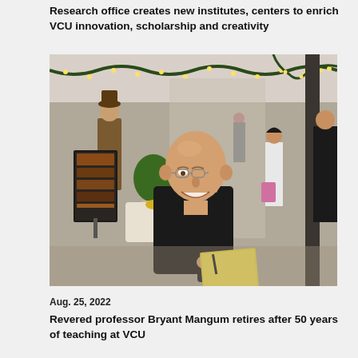Research office creates new institutes, centers to enrich VCU innovation, scholarship and creativity
[Figure (photo): A bald man in a black sweater holding a notepad and pen, smiling, standing in an indoor market or hall decorated with Christmas lights and garland. Other people and planters with green plants are visible in the background.]
Aug. 25, 2022
Revered professor Bryant Mangum retires after 50 years of teaching at VCU